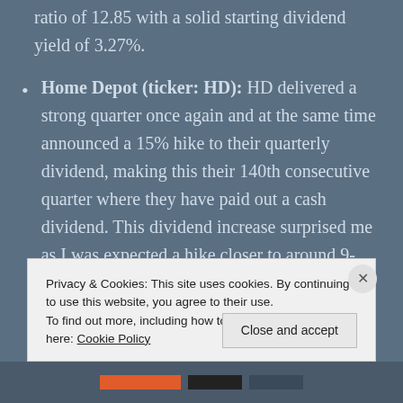ratio of 12.85 with a solid starting dividend yield of 3.27%.
Home Depot (ticker: HD): HD delivered a strong quarter once again and at the same time announced a 15% hike to their quarterly dividend, making this their 140th consecutive quarter where they have paid out a cash dividend. This dividend increase surprised me as I was expected a hike closer to around 9-10%. Immediately after the release, the stock
Privacy & Cookies: This site uses cookies. By continuing to use this website, you agree to their use.
To find out more, including how to control cookies, see here: Cookie Policy